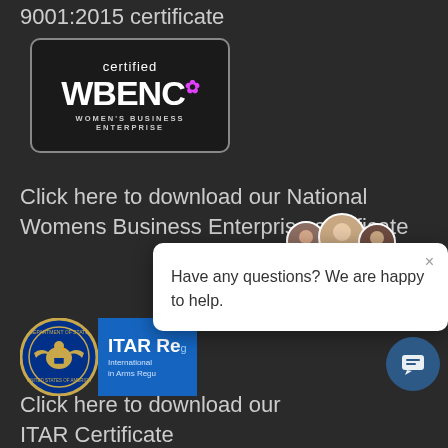9001:2015 certificate
[Figure (logo): Certified WBENC Women's Business Enterprise logo, black rounded rectangle with white text]
Click here to download our National Womens Business Enterprise certificate
[Figure (logo): ITAR Registered badge with US Department of State seal and blue banner reading International in Arms Regu...]
[Figure (other): Chat popup overlay with avatars of three support people and text: Have any questions? We are happy to help.]
Click here to download our ITAR Certificate